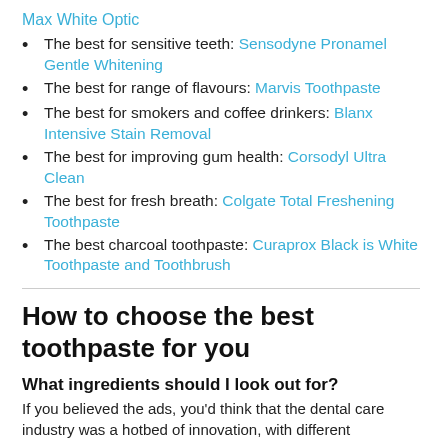Max White Optic
The best for sensitive teeth: Sensodyne Pronamel Gentle Whitening
The best for range of flavours: Marvis Toothpaste
The best for smokers and coffee drinkers: Blanx Intensive Stain Removal
The best for improving gum health: Corsodyl Ultra Clean
The best for fresh breath: Colgate Total Freshening Toothpaste
The best charcoal toothpaste: Curaprox Black is White Toothpaste and Toothbrush
How to choose the best toothpaste for you
What ingredients should I look out for?
If you believed the ads, you'd think that the dental care industry was a hotbed of innovation, with different